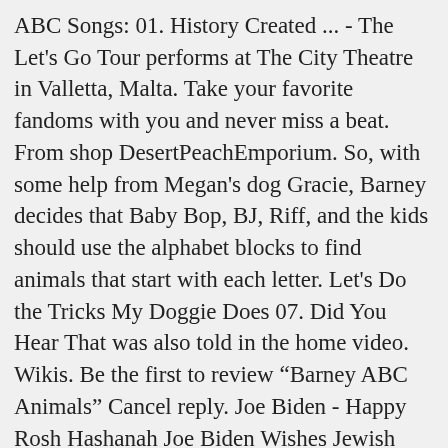ABC Songs: 01. History Created ... - The Let's Go Tour performs at The City Theatre in Valletta, Malta. Take your favorite fandoms with you and never miss a beat. From shop DesertPeachEmporium. So, with some help from Megan's dog Gracie, Barney decides that Baby Bop, BJ, Riff, and the kids should use the alphabet blocks to find animals that start with each letter. Let's Do the Tricks My Doggie Does 07. Did You Hear That was also told in the home video. Wikis. Be the first to review “Barney ABC Animals” Cancel reply. Joe Biden - Happy Rosh Hashanah Joe Biden Wishes Jewish Americans A Happy New Year. Directed by Fred Holmes. : Bernthal, Mark, Baker, Darrell: Amazon.nl. 4.3 out of 5 stars 51 ratings. Daha fazla videoya gözat. TOP 10 STUDIO . I love it because she learning her ABC's and having fun with all the animals. Barney and Friends. Three Lines Three Corners "Barney Boogie" Music Video "Super-Dee-Super Shapes" Game